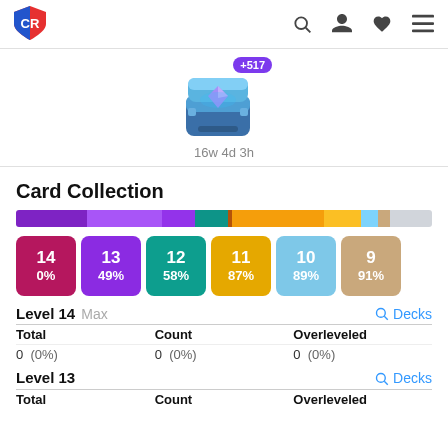+517 chest, 16w 4d 3h
Card Collection
[Figure (infographic): Stacked horizontal progress bar with segments: dark purple, medium purple, medium purple smaller, teal, gold thin, gold wide, gold smaller, light blue, tan/brown, light gray]
[Figure (infographic): Six colored level cards: Level 14 0% (dark pink/red), Level 13 49% (purple), Level 12 58% (teal), Level 11 87% (gold/yellow), Level 10 89% (light blue), Level 9 91% (tan/beige)]
Level 14  Max   Decks
| Total | Count | Overleveled |
| --- | --- | --- |
| 0  (0%) | 0  (0%) | 0  (0%) |
Level 13   Decks
| Total | Count | Overleveled |
| --- | --- | --- |